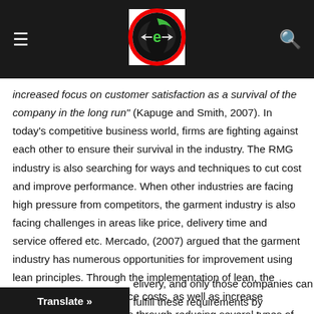[Figure (logo): Website header bar with hamburger menu icon on left, circular logo in center (black circle with red ring and green/white letter e with arrows), and search icon on right, on dark background]
increased focus on customer satisfaction as a survival of the company in the long run" (Kapuge and Smith, 2007). In today's competitive business world, firms are fighting against each other to ensure their survival in the industry. The RMG industry is also searching for ways and techniques to cut cost and improve performance. When other industries are facing high pressure from competitors, the garment industry is also facing challenges in areas like price, delivery time and service offered etc. Mercado, (2007) argued that the garment industry has numerous opportunities for improvement using lean principles. Through the implementation of lean, the garment sector can reduce costs, as well as increase customer responsiveness through reducing several types of wastes from the production process. Customers demand quality products and on-time delivery, and only those companies can fulfill these requirements by
Translate »